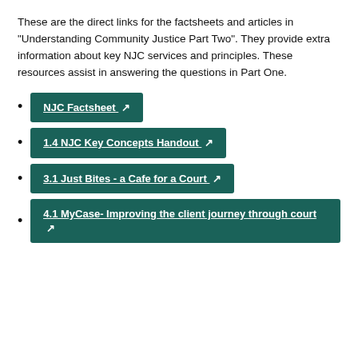These are the direct links for the factsheets and articles in “Understanding Community Justice Part Two”. They provide extra information about key NJC services and principles. These resources assist in answering the questions in Part One.
NJC Factsheet ↪
1.4 NJC Key Concepts Handout ↪
3.1 Just Bites - a Cafe for a Court ↪
4.1 MyCase- Improving the client journey through court ↪